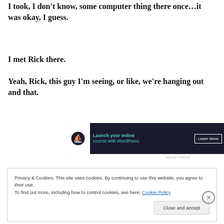I took, I don't know, some computer thing there once…it was okay, I guess.
I met Rick there.
Yeah, Rick, this guy I'm seeing, or like, we're hanging out and that.
[Figure (screenshot): Dark advertisement banner: 'Launch your online course with WordPress' with a Learn More button]
REPORT THIS AD
Privacy & Cookies: This site uses cookies. By continuing to use this website, you agree to their use.
To find out more, including how to control cookies, see here: Cookie Policy
Close and accept